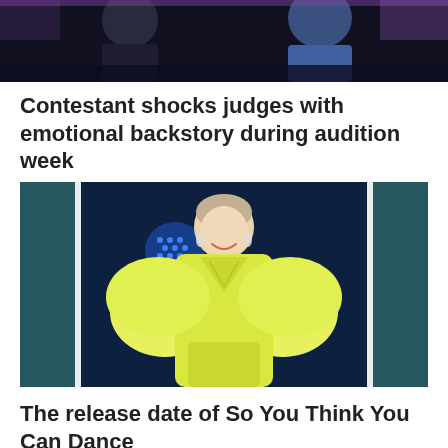[Figure (photo): Partial photo at top of page showing two people on a dark TV show stage with purple/blue lighting]
Contestant shocks judges with emotional backstory during audition week
[Figure (photo): Woman in a bright yellow puff-sleeve dress smiling on a TV show stage with blue lighting in the background]
The release date of So You Think You Can Dance